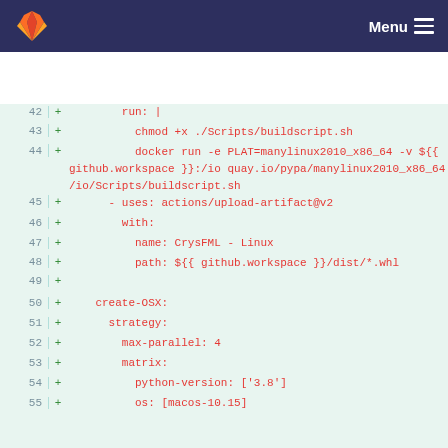Menu
[Figure (screenshot): GitLab diff view showing lines 42-55 of a YAML CI configuration file, with added lines (shown in green diff +) containing shell commands and GitHub Actions configuration for creating Linux and OSX builds with Python.]